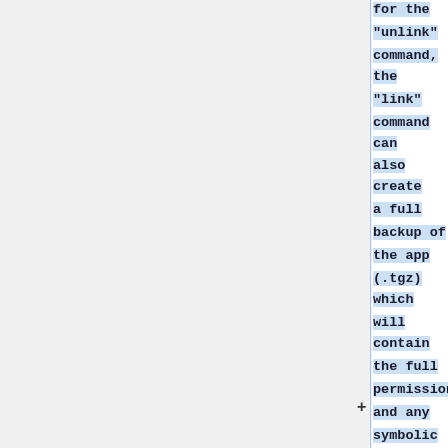for the "unlink" command, the "link" command can also create a full backup of the app (.tgz) which will contain the full permissions and any symbolic links that will be lost when copying the app to the /media/internal/.apps